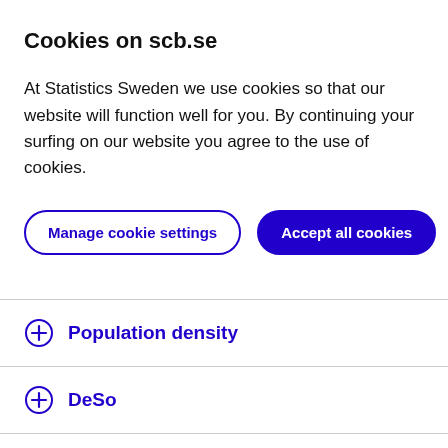Cookies on scb.se
At Statistics Sweden we use cookies so that our website will function well for you. By continuing your surfing on our website you agree to the use of cookies.
Manage cookie settings | Accept all cookies
Population density
DeSo